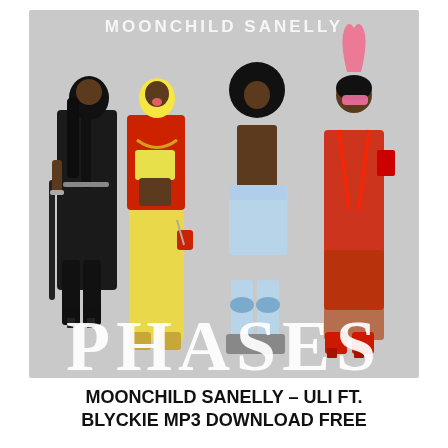[Figure (illustration): Album cover for Moonchild Sanelly's 'Phases'. Light gray background with four women in bold, colorful outfits standing side by side. Text 'MOONCHILD SANELLY' at top and 'PHASES' in large white serif letters at bottom overlapping the figures.]
MOONCHILD SANELLY – ULI FT. BLYCKIE MP3 DOWNLOAD FREE